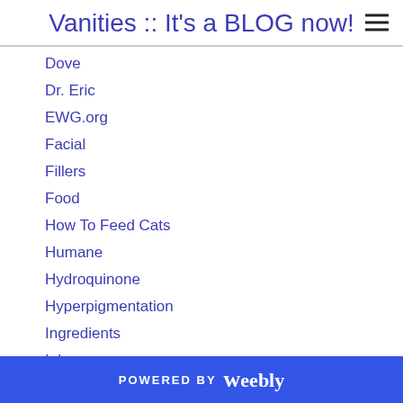Vanities :: It's a BLOG now!
Dove
Dr. Eric
EWG.org
Facial
Fillers
Food
How To Feed Cats
Humane
Hydroquinone
Hyperpigmentation
Ingredients
Inhumane
L.A./Hollywood/Beverly Hills
Low-Glycemic
Massage
POWERED BY weebly